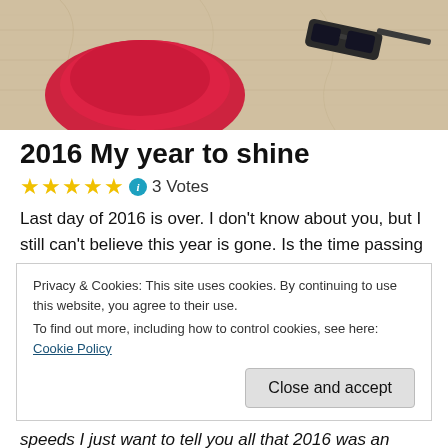[Figure (photo): Top portion of a blog post header image showing a red fabric/hat and sunglasses on a light textured surface]
2016 My year to shine
★★★★★ ⓘ 3 Votes
Last day of 2016 is over. I don't know about you, but I still can't believe this year is gone. Is the time passing
Privacy & Cookies: This site uses cookies. By continuing to use this website, you agree to their use.
To find out more, including how to control cookies, see here: Cookie Policy
Close and accept
speeds I just want to tell you all that 2016 was an